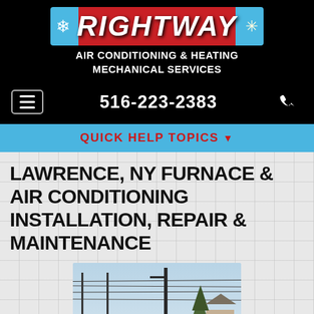[Figure (logo): Rightway Air Conditioning & Heating Mechanical Services logo banner with blue and red gradient background, snowflake icon on left, sun/star icon on right, and large white italic RIGHTWAY text]
AIR CONDITIONING & HEATING
MECHANICAL SERVICES
516-223-2383
QUICK HELP TOPICS ▼
LAWRENCE, NY FURNACE & AIR CONDITIONING INSTALLATION, REPAIR & MAINTENANCE
[Figure (photo): Street photo showing utility poles with wires, a pine tree, and a house in the background]